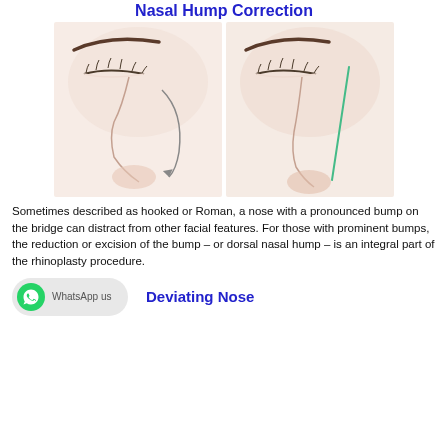Nasal Hump Correction
[Figure (illustration): Two side-profile illustrations of a nose showing nasal hump correction: left image shows a curved arrow indicating a nasal hump, right image shows a straight green line indicating corrected nose profile.]
Sometimes described as hooked or Roman, a nose with a pronounced bump on the bridge can distract from other facial features. For those with prominent bumps, the reduction or excision of the bump – or dorsal nasal hump – is an integral part of the rhinoplasty procedure.
[Figure (logo): WhatsApp us button with green WhatsApp icon]
Deviating Nose